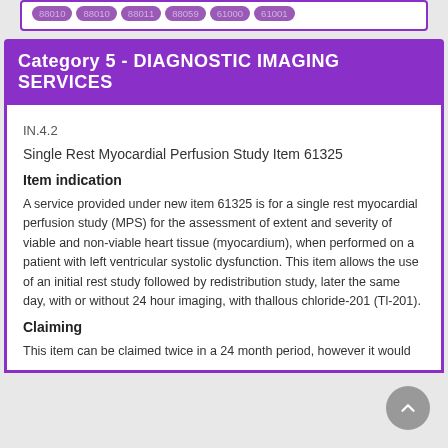88010 88010 88011 88059 61000 61001
Category 5 - DIAGNOSTIC IMAGING SERVICES
IN.4.2
Single Rest Myocardial Perfusion Study Item 61325
Item indication
A service provided under new item 61325 is for a single rest myocardial perfusion study (MPS) for the assessment of extent and severity of viable and non-viable heart tissue (myocardium), when performed on a patient with left ventricular systolic dysfunction. This item allows the use of an initial rest study followed by redistribution study, later the same day, with or without 24 hour imaging, with thallous chloride-201 (Tl-201).
Claiming
This item can be claimed twice in a 24 month period, however it would